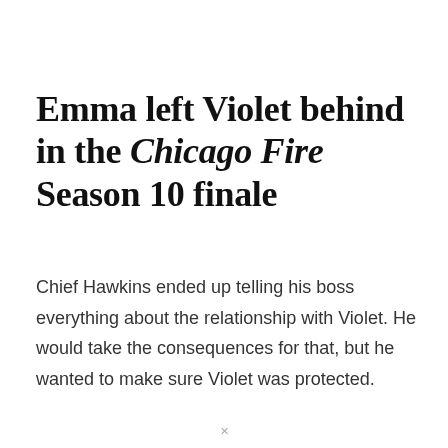Emma left Violet behind in the Chicago Fire Season 10 finale
Chief Hawkins ended up telling his boss everything about the relationship with Violet. He would take the consequences for that, but he wanted to make sure Violet was protected.